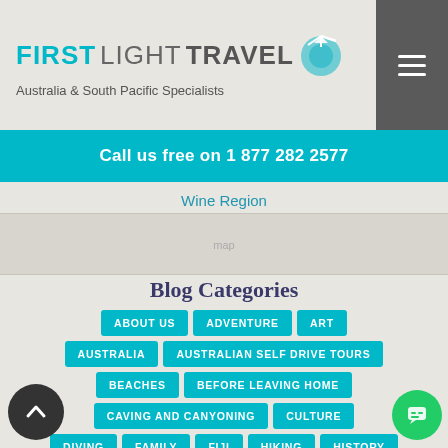FIRSTLIGHTTRAVEL — Australia & South Pacific Specialists
Call us free on 1 877 282 2577
Wine Region
Blog Categories
ABOUT US
ADVENTURE
ART
AUSTRALIA
AUSTRALIAN SELF DRIVE TOURS
BEACHES
BEFORE LEAVING HOME
CAVING AND CANYONING
CULTURE
DIVING
FAMILY
FIJI
HIKING
HISTORY
HONEYMOON
HUMOUR
LUXURY